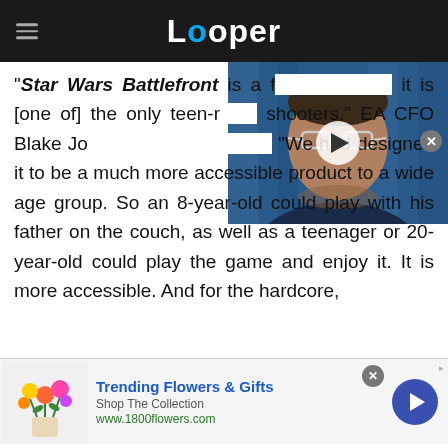Looper
[Figure (screenshot): Video thumbnail showing a man with glasses against a blue curtain background, with a play button overlay]
"Star Wars Battlefront is a f[amily-friendly game]... it is [one of] the only teen-r[ated] shooters," EA CFO Blake Jorgensen said in 2015. "We had designed it to be a much more accessible product to a wide age group. So an 8-year-old could play with his father on the couch, as well as a teenager or 20-year-old could play the game and enjoy it. It is more accessible. And for the hardcore,
[Figure (screenshot): Advertisement for 1800flowers.com showing Trending Flowers & Gifts with flower image and Shop The Collection link]